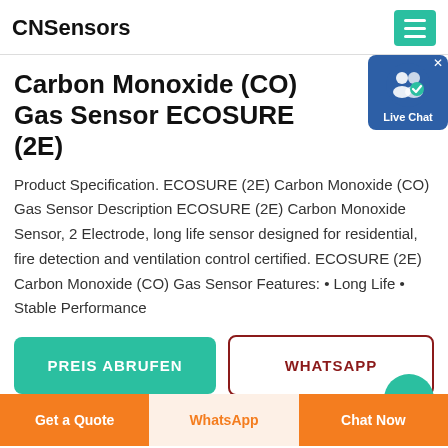CNSensors
Carbon Monoxide (CO) Gas Sensor ECOSURE (2E)
Product Specification. ECOSURE (2E) Carbon Monoxide (CO) Gas Sensor Description ECOSURE (2E) Carbon Monoxide Sensor, 2 Electrode, long life sensor designed for residential, fire detection and ventilation control certified. ECOSURE (2E) Carbon Monoxide (CO) Gas Sensor Features: • Long Life • Stable Performance
[Figure (other): Live Chat popup widget with blue background showing a person icon with a checkmark badge and the text 'Live Chat']
PREIS ABRUFEN
WHATSAPP
Get a Quote | WhatsApp | Chat Now